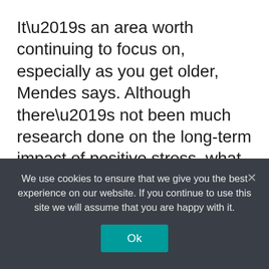It’s an area worth continuing to focus on, especially as you get older, Mendes says. Although there’s not been much research done on the long-term impact of positive stress, what we know is encouraging.

“There is evidence that good stress is related to less accelerated brain aging,” Mendes says. So she recommends that after retirement, keep seeking out positive forms of stress by staying mentally, socially, and physically engaged.
We use cookies to ensure that we give you the best experience on our website. If you continue to use this site we will assume that you are happy with it.